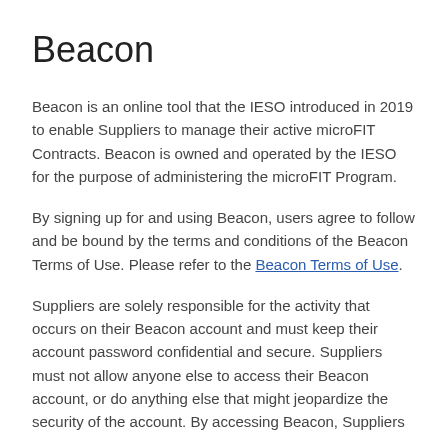Beacon
Beacon is an online tool that the IESO introduced in 2019 to enable Suppliers to manage their active microFIT Contracts. Beacon is owned and operated by the IESO for the purpose of administering the microFIT Program.
By signing up for and using Beacon, users agree to follow and be bound by the terms and conditions of the Beacon Terms of Use. Please refer to the Beacon Terms of Use.
Suppliers are solely responsible for the activity that occurs on their Beacon account and must keep their account password confidential and secure. Suppliers must not allow anyone else to access their Beacon account, or do anything else that might jeopardize the security of the account. By accessing Beacon, Suppliers